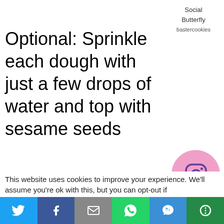Social Butterfly
bastercookies
Optional: Sprinkle each dough with just a few drops of water and top with sesame seeds
[Figure (illustration): Pink circle with Instagram logo icon]
Bake at 500 F for about 10 minutes using the top rack
[Figure (illustration): Pink circle with Twitter bird logo icon]
Then turn oven to broil for
[Figure (illustration): Pink circle with Pinterest logo icon]
This website uses cookies to improve your experience. We'll assume you're ok with this, but you can opt-out if
[Figure (infographic): Social share bar with Twitter, Facebook, Email, WhatsApp, SMS, More buttons]